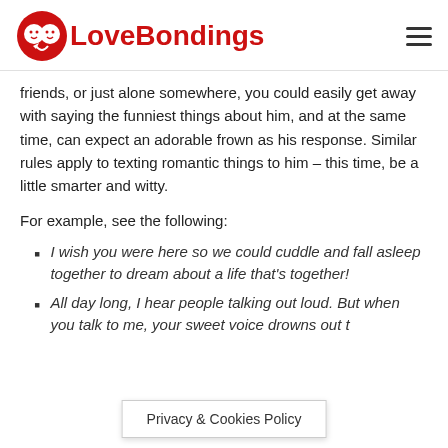LoveBondings
friends, or just alone somewhere, you could easily get away with saying the funniest things about him, and at the same time, can expect an adorable frown as his response. Similar rules apply to texting romantic things to him – this time, be a little smarter and witty.
For example, see the following:
I wish you were here so we could cuddle and fall asleep together to dream about a life that's together!
All day long, I hear people talking out loud. But when you talk to me, your sweet voice drowns out t
Privacy & Cookies Policy